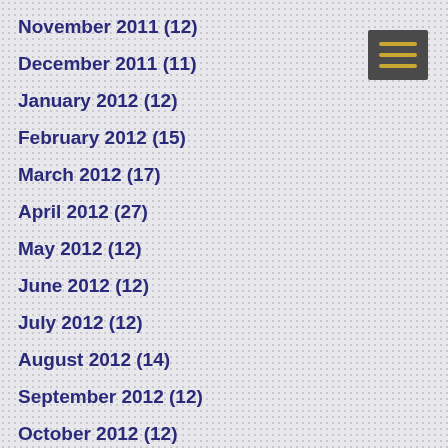November 2011 (12)
December 2011 (11)
January 2012 (12)
February 2012 (15)
March 2012 (17)
April 2012 (27)
May 2012 (12)
June 2012 (12)
July 2012 (12)
August 2012 (14)
September 2012 (12)
October 2012 (12)
November 2012 (10)
December 2012 (14)
January 2013 (14)
February 2013 (14)
March 2013 (18)
April 2013 (20)